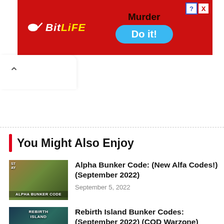[Figure (other): BitLife app advertisement banner with Murder / Do it! call to action, red background, yellow BitLife logo text, blue Do it button]
You Might Also Enjoy
[Figure (photo): Alpha Bunker Code game thumbnail showing combat scene with ALPHA BUNKER CODE label]
Alpha Bunker Code: (New Alfa Codes!) (September 2022)
September 5, 2022
[Figure (photo): Rebirth Island Bunker Codes game thumbnail showing soldiers with REBIRTH ISLAND and BUNKER CODE labels]
Rebirth Island Bunker Codes: (September 2022) (COD Warzone)
September 4, 2022
[Figure (photo): Dynasty Heroes Gift Codes game thumbnail showing fantasy battle scene]
Dynasty Heroes Gift Codes (September 2022) (Free Chest!)